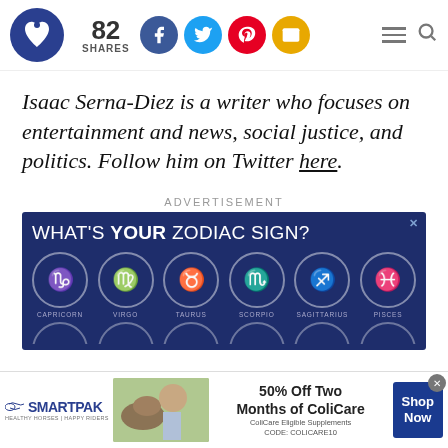[Figure (logo): Website logo: dark blue circle with white heart/lock icon]
82 SHARES
[Figure (infographic): Social share icons: Facebook (blue), Twitter (light blue), Pinterest (red), Email (yellow)]
[Figure (infographic): Hamburger menu and search icon on the right]
Isaac Serna-Diez is a writer who focuses on entertainment and news, social justice, and politics. Follow him on Twitter here.
ADVERTISEMENT
[Figure (infographic): Advertisement banner: dark blue background with text 'WHAT'S YOUR ZODIAC SIGN?' and 6 zodiac sign circles (Capricorn, Virgo, Taurus, Scorpio, Sagittarius, Pisces) with partially visible second row]
[Figure (infographic): SmartPak bottom advertisement banner: 50% Off Two Months of ColiCare, ColiCare Eligible Supplements, CODE: COLICARE10, Shop Now button]